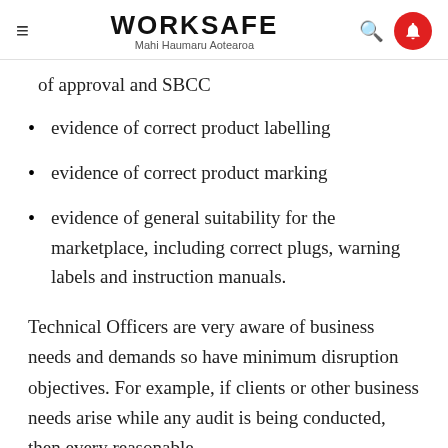WORKSAFE Mahi Haumaru Aotearoa
of approval and SBCC
evidence of correct product labelling
evidence of correct product marking
evidence of general suitability for the marketplace, including correct plugs, warning labels and instruction manuals.
Technical Officers are very aware of business needs and demands so have minimum disruption objectives. For example, if clients or other business needs arise while any audit is being conducted, then every reasonable